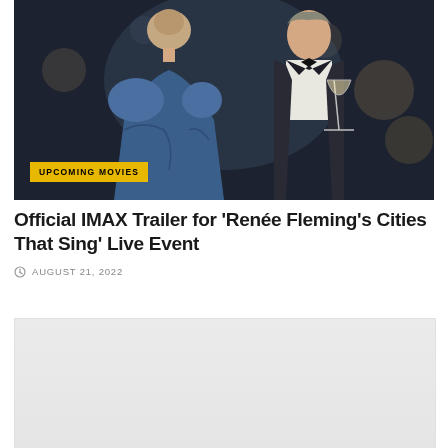[Figure (photo): A woman in a blue off-shoulder gown (back facing camera) and a man in a dark tuxedo holding a champagne glass, at a formal event with bokeh lights in background. An 'UPCOMING MOVIES' yellow badge overlays the bottom-left of the image.]
Official IMAX Trailer for ‘Renée Fleming’s Cities That Sing’ Live Event
AUGUST 21, 2022
[Figure (photo): A second image placeholder with light gray background, partially visible at bottom of page.]